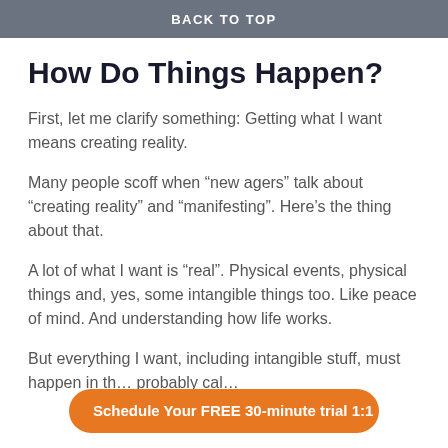BACK TO TOP
How Do Things Happen?
First, let me clarify something: Getting what I want means creating reality.
Many people scoff when “new agers” talk about “creating reality” and “manifesting”. Here’s the thing about that.
A lot of what I want is “real”. Physical events, physical things and, yes, some intangible things too. Like peace of mind. And understanding how life works.
But everything I want, including intangible stuff, must happen in th… probably cal…
Schedule Your FREE 30-minute trial 1:1